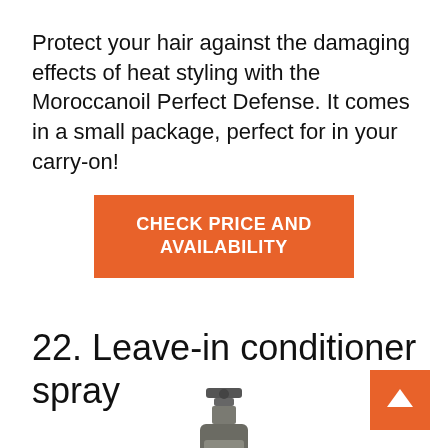Protect your hair against the damaging effects of heat styling with the Moroccanoil Perfect Defense. It comes in a small package, perfect for in your carry-on!
[Figure (other): Orange button with white text reading CHECK PRICE AND AVAILABILITY]
22. Leave-in conditioner spray
[Figure (photo): Partial photo of a spray bottle product (leave-in conditioner spray), showing the top nozzle and upper portion of the bottle]
[Figure (other): Orange back-to-top button with white upward-pointing chevron arrow, positioned in the bottom right corner]